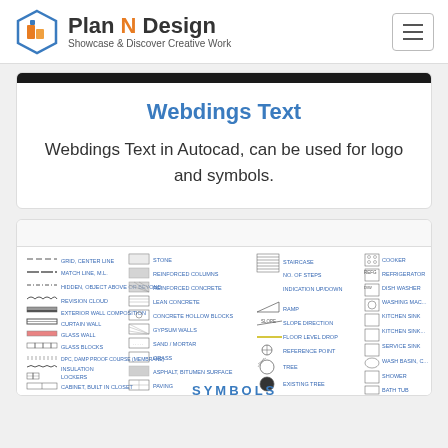Plan N Design — Showcase & Discover Creative Work
Webdings Text
Webdings Text in Autocad, can be used for logo and symbols.
[Figure (schematic): Architectural/engineering CAD symbols legend showing wall types, materials (stone, reinforced columns, reinforced concrete, lean concrete, concrete hollow blocks, gypsum walls, sand/mortar, grass, asphalt/bitumen surface, paving, rubble, compacted fill or natural ground), line types (grid center line, match line, hidden object above or beyond, revision cloud, exterior wall composition, curtain wall, glass wall, glass blocks, DPC damp proof course membrane, insulation, lockers, cabinet built-in closet), stair/ramp symbols (staircase, no. of steps, indication up/down, ramp, slope direction, floor level drop, reference point, tree, existing tree), and appliances (cooker, refrigerator, dish washer, washing machine, kitchen sink, service sink, wash basin, shower, bath tub, floor drain, WC, water closet, wall mounted, squat pan). Bottom text reads SYMBOLS.]